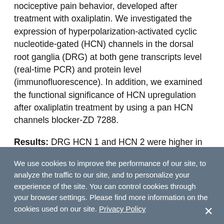nociceptive pain behavior, developed after treatment with oxaliplatin. We investigated the expression of hyperpolarization-activated cyclic nucleotide-gated (HCN) channels in the dorsal root ganglia (DRG) at both gene transcripts level (real-time PCR) and protein level (immunofluorescence). In addition, we examined the functional significance of HCN upregulation after oxaliplatin treatment by using a pan HCN channels blocker-ZD 7288.
Results: DRG HCN 1 and HCN 2 were higher in oxaliplatin-treated rats than saline-treated controls, both for gene transcripts and proteins. ZD7288, when administered intrathecally, was able to alleviate, albeit not abrogate, oxaliplatin-induced pain. Interestingly, pre-treatment with
We use cookies to improve the performance of our site, to analyze the traffic to our site, and to personalize your experience of the site. You can control cookies through your browser settings. Please find more information on the cookies used on our site. Privacy Policy